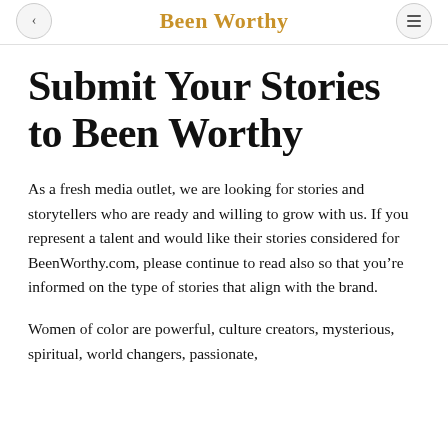Been Worthy
Submit Your Stories to Been Worthy
As a fresh media outlet, we are looking for stories and storytellers who are ready and willing to grow with us. If you represent a talent and would like their stories considered for BeenWorthy.com, please continue to read also so that you're informed on the type of stories that align with the brand.
Women of color are powerful, culture creators, mysterious, spiritual, world changers, passionate,